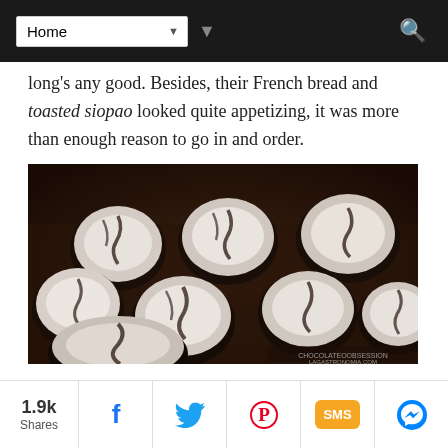Home
long's any good. Besides, their French bread and toasted siopao looked quite appetizing, it was more than enough reason to go in and order.
[Figure (photo): Chocolate crinkle cookies dusted with powdered sugar on a dark tray, showing cracked white-dusted tops with dark chocolate visible in the cracks.]
Bread & Bakers, the place is called. And yes, it is a bakery of sorts, offering
1.9k Shares | Facebook | Twitter | Pinterest | SMS | Messenger